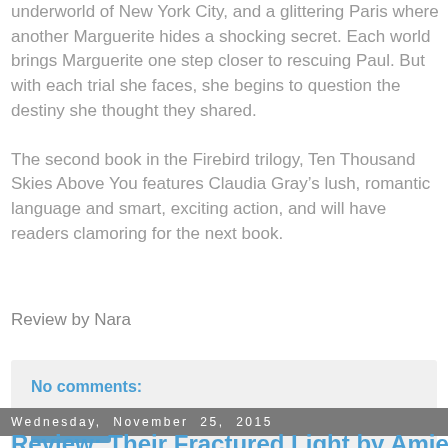underworld of New York City, and a glittering Paris where another Marguerite hides a shocking secret. Each world brings Marguerite one step closer to rescuing Paul. But with each trial she faces, she begins to question the destiny she thought they shared.

The second book in the Firebird trilogy, Ten Thousand Skies Above You features Claudia Gray’s lush, romantic language and smart, exciting action, and will have readers clamoring for the next book.
Review by Nara
No comments:
Share
Wednesday, November 25, 2015
Review: Their Fractured Light by Amie